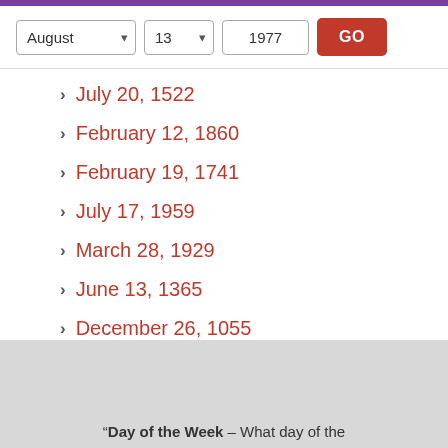[Figure (screenshot): Purple bar at top of page]
[Figure (screenshot): Date picker controls with dropdowns for month (August), day (13), year (1977), and a red GO button]
July 20, 1522
February 12, 1860
February 19, 1741
July 17, 1959
March 28, 1929
June 13, 1365
December 26, 1055
November 3, 1017
"Day of the Week - What day of the